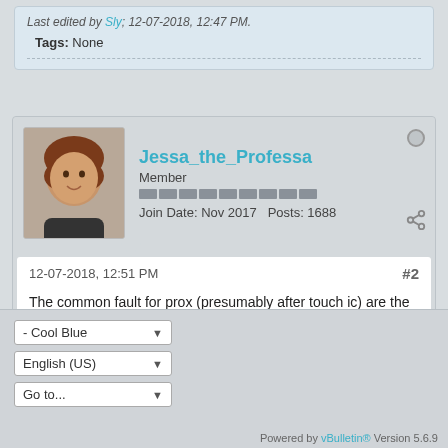Last edited by Sly; 12-07-2018, 12:47 PM.
Tags: None
Jessa_the_Professa
Member
Join Date: Nov 2017  Posts: 1688
12-07-2018, 12:51 PM
#2
The common fault for prox (presumably after touch ic) are the filters along the fcam connector.
- Cool Blue
English (US)
Go to...
Powered by vBulletin® Version 5.6.9